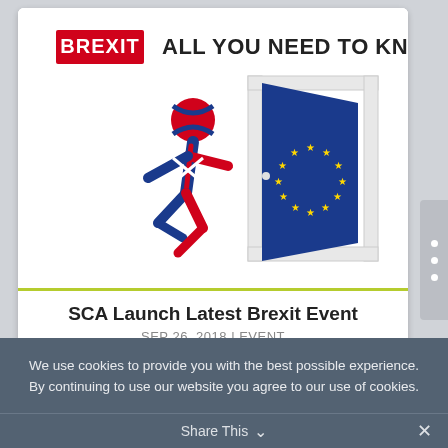[Figure (illustration): Brexit illustration: a running stick figure decorated with Union Jack pattern running through an open door whose right panel shows the EU flag (blue with yellow stars). Above: red rectangle badge with white text 'BREXIT' and black bold text 'ALL YOU NEED TO KNOW'.]
SCA Launch Latest Brexit Event
SEP 26, 2018 | EVENT
We use cookies to provide you with the best possible experience. By continuing to use our website you agree to our use of cookies.
Share This